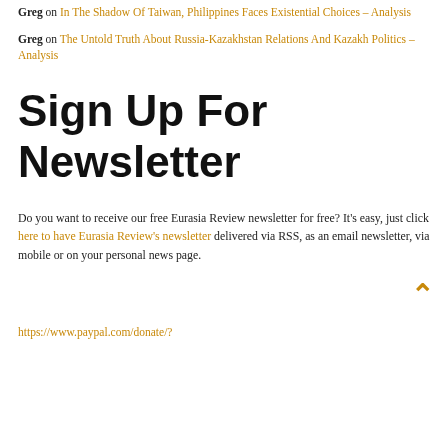Greg on In The Shadow Of Taiwan, Philippines Faces Existential Choices – Analysis
Greg on The Untold Truth About Russia-Kazakhstan Relations And Kazakh Politics – Analysis
Sign Up For Newsletter
Do you want to receive our free Eurasia Review newsletter for free? It's easy, just click here to have Eurasia Review's newsletter delivered via RSS, as an email newsletter, via mobile or on your personal news page.
https://www.paypal.com/donate/?